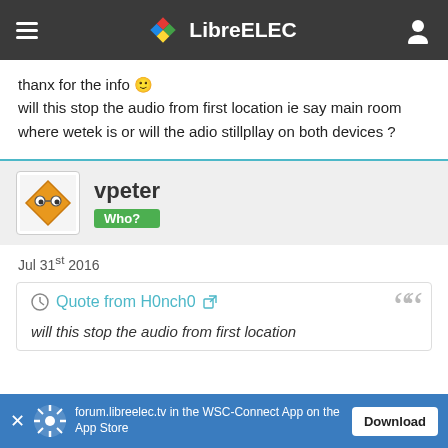LibreELEC
thanx for the info 🙂
will this stop the audio from first location ie say main room where wetek is or will the adio stillpllay on both devices ?
vpeter
Who?
Jul 31st 2016
Quote from H0nch0
will this stop the audio from first location
forum.libreelec.tv in the WSC-Connect App on the App Store